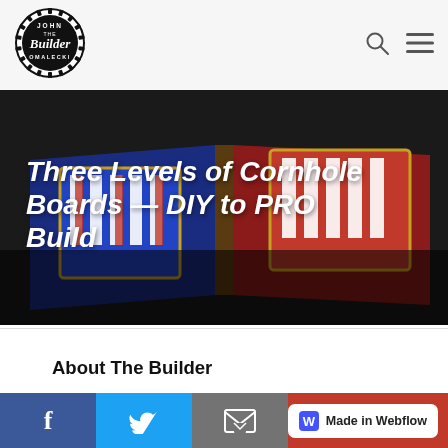[Figure (logo): John The Builder Omalecki circular saw-blade logo in black and white]
[Figure (other): Search icon (magnifying glass) in the navigation bar]
[Figure (other): Hamburger menu icon in the navigation bar]
Three Levels of Cornhole Boards — DIY to PRO Build
[Figure (photo): Hero photo of two cornhole boards side by side — one blue with a shield logo, one red with a shield logo — leaning against each other showing the underside edges]
About The Builder
[Figure (other): Facebook share button (white f on blue background)]
[Figure (other): Twitter share button (white bird on light-blue background)]
[Figure (other): Email share button (envelope icon on gray background)]
[Figure (logo): Made in Webflow badge (white badge with W logo on red background)]